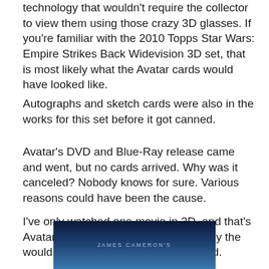technology that wouldn't require the collector to view them using those crazy 3D glasses. If you're familiar with the 2010 Topps Star Wars: Empire Strikes Back Widevision 3D set, that is most likely what the Avatar cards would have looked like.
Autographs and sketch cards were also in the works for this set before it got canned.
Avatar's DVD and Blue-Ray release came and went, but no cards arrived. Why was it canceled? Nobody knows for sure. Various reasons could have been the cause.
I've only watched one movie in 3D, and that's Avatar. Its visually stunning. Judging by the would-be checklist this set was packed.
[Figure (photo): Bottom portion of a James Cameron's Avatar movie card or promotional image, showing the title text 'JAMES CAMERON'S' in light blue letters against a dark blue/night sky background.]